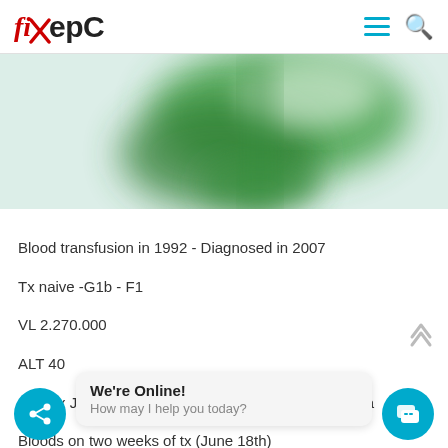fixHepC
[Figure (photo): Blurred green and white image, possibly a flag or natural scene, partially visible]
Blood transfusion in 1992 - Diagnosed in 2007
Tx naive -G1b - F1
VL 2.270.000
ALT 40
Start tx June 4th/2016 with DAAs - Sof/Led from India
Bloods on two weeks of tx (June 18th)
7 - ALT 10 -
UND
Bloods on six weeks of tx (July 14th)